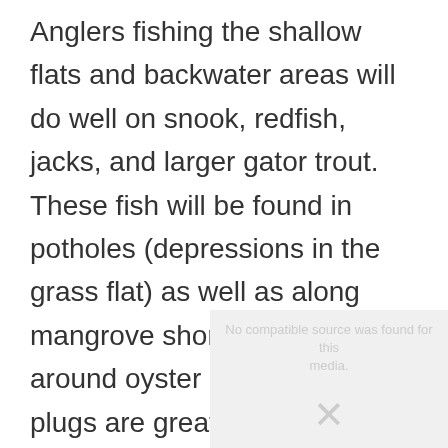Anglers fishing the shallow flats and backwater areas will do well on snook, redfish, jacks, and larger gator trout. These fish will be found in potholes (depressions in the grass flat) as well as along mangrove shorelines and around oyster bars. Top water plugs are great fun on the high tide stages. Shallow diving plugs, spoons, and jigs are good artificial lures. Large live shrimp fished under docks will produce all these species and more.
[Figure (other): Media placeholder with message 'No compatible source was found for this media.' and an X icon.]